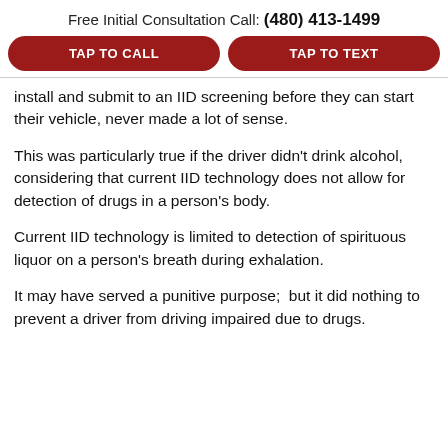Free Initial Consultation Call: (480) 413-1499
TAP TO CALL
TAP TO TEXT
install and submit to an IID screening before they can start their vehicle, never made a lot of sense.
This was particularly true if the driver didn't drink alcohol, considering that current IID technology does not allow for detection of drugs in a person’s body.
Current IID technology is limited to detection of spirituous liquor on a person's breath during exhalation.
It may have served a punitive purpose;  but it did nothing to prevent a driver from driving impaired due to drugs.